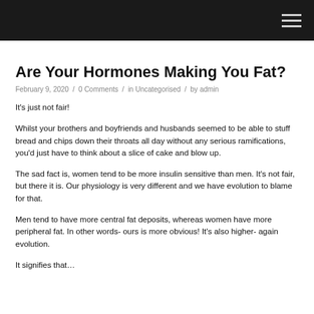Are Your Hormones Making You Fat?
February 9, 2020 / 0 Comments / in Uncategorised / by admin
It's just not fair! Whilst your brothers and boyfriends and husbands seemed to be able to stuff bread and chips down their throats all day without any serious ramifications, you'd just have to think about a slice of cake and blow up. The sad fact is, women tend to be more insulin sensitive than men. It's not fair, but there it is. Our physiology is very different and we have evolution to blame for that. Men tend to have more central fat deposits, whereas women have more peripheral fat. In other words- ours is more obvious! It's also higher- again evolution. It signifies that…